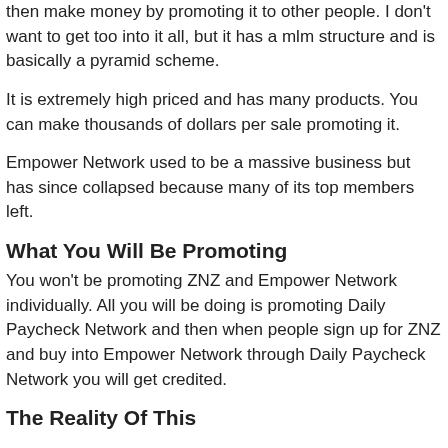then make money by promoting it to other people. I don't want to get too into it all, but it has a mlm structure and is basically a pyramid scheme.
It is extremely high priced and has many products. You can make thousands of dollars per sale promoting it.
Empower Network used to be a massive business but has since collapsed because many of its top members left.
What You Will Be Promoting
You won't be promoting ZNZ and Empower Network individually. All you will be doing is promoting Daily Paycheck Network and then when people sign up for ZNZ and buy into Empower Network through Daily Paycheck Network you will get credited.
The Reality Of This